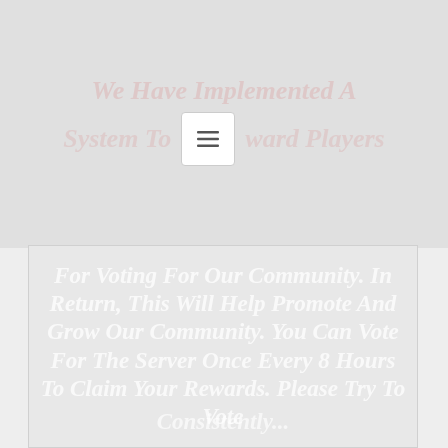We Have Implemented A System To Reward Players
For Voting For Our Community. In Return, This Will Help Promote And Grow Our Community. You Can Vote For The Server Once Every 8 Hours To Claim Your Rewards. Please Try To Vote Consistently...